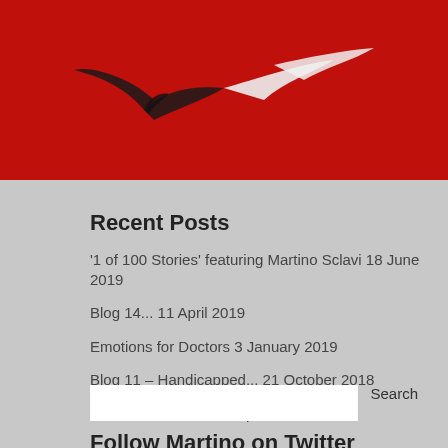[Figure (illustration): Red banner with white bird/seagull silhouette logo on a dark red background]
Recent Posts
'1 of 100 Stories' featuring Martino Sclavi 18 June 2019
Blog 14... 11 April 2019
Emotions for Doctors 3 January 2019
Blog 11 – Handicapped... 21 October 2018
The technical life 12 September 2018
Follow Martino on Twitter